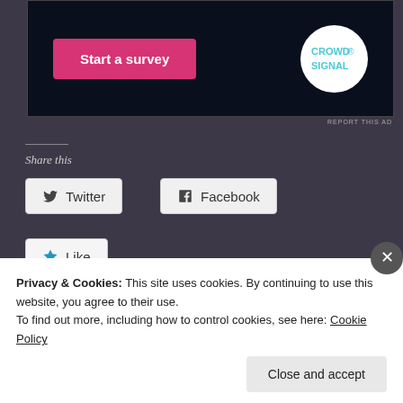[Figure (screenshot): Ad banner with pink 'Start a survey' button and Crowdsignal logo on dark background]
REPORT THIS AD
Share this
[Figure (screenshot): Twitter social share button with Twitter bird icon]
[Figure (screenshot): Facebook social share button with Facebook icon]
[Figure (screenshot): Like button with blue star icon]
One blogger likes this.
Privacy & Cookies: This site uses cookies. By continuing to use this website, you agree to their use.
To find out more, including how to control cookies, see here: Cookie Policy
Close and accept